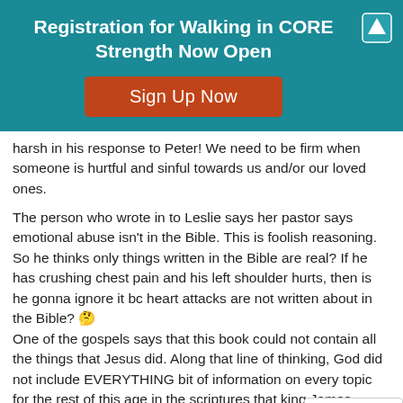Registration for Walking in CORE Strength Now Open
[Figure (other): Sign Up Now button (orange/red rounded rectangle)]
harsh in his response to Peter! We need to be firm when someone is hurtful and sinful towards us and/or our loved ones.
The person who wrote in to Leslie says her pastor says emotional abuse isn't in the Bible. This is foolish reasoning. So he thinks only things written in the Bible are real? If he has crushing chest pain and his left shoulder hurts, then is he gonna ignore it bc heart attacks are not written about in the Bible? 🤔
One of the gospels says that this book could not contain all the things that Jesus did. Along that line of thinking, God did not include EVERYTHING bit of information on every topic for the rest of this age in the scriptures that king James would eventually have gathered up and written down.
Reply